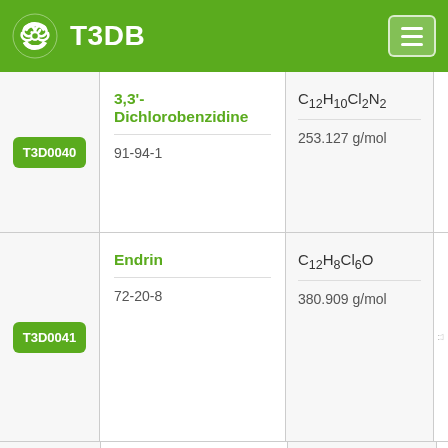T3DB
| ID | Name / CAS | Formula / MW | Structure |
| --- | --- | --- | --- |
| T3D0040 | 3,3'-Dichlorobenzidine
91-94-1 | C12H10Cl2N2
253.127 g/mol |  |
| T3D0041 | Endrin
72-20-8 | C12H8Cl6O
380.909 g/mol | partial structure (Cl) |
|  |  |  |  |